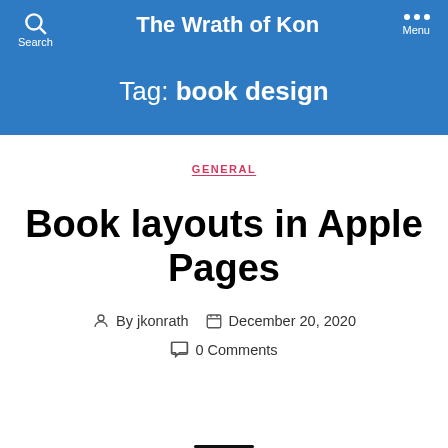The Wrath of Kon
Tag: book design
GENERAL
Book layouts in Apple Pages
By jkonrath   December 20, 2020   0 Comments